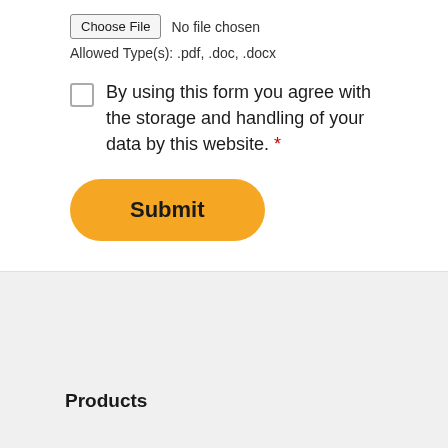Choose File  No file chosen
Allowed Type(s): .pdf, .doc, .docx
By using this form you agree with the storage and handling of your data by this website. *
Submit
Products